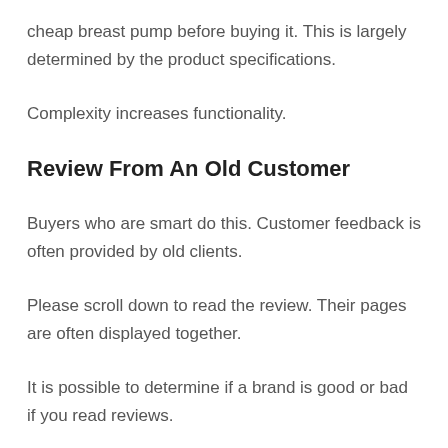cheap breast pump before buying it. This is largely determined by the product specifications.
Complexity increases functionality.
Review From An Old Customer
Buyers who are smart do this. Customer feedback is often provided by old clients.
Please scroll down to read the review. Their pages are often displayed together.
It is possible to determine if a brand is good or bad if you read reviews.